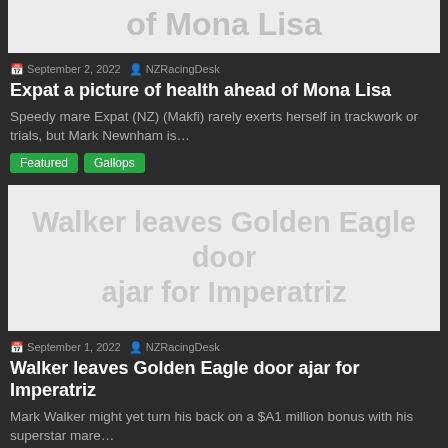[Figure (screenshot): Partial article image at top showing 'of Mona Lisa' text in large gray letters on light background]
September 2, 2022 | NZRacingDesk
Expat a picture of health ahead of Mona Lisa
Speedy mare Expat (NZ) (Makfi) rarely exerts herself in trackwork or trials, but Mark Newnham is…
Featured
Gallops
[Figure (screenshot): Article image showing 'Walker leaves Golden Eagle door ajar for Imperatriz' in large gray text on light background]
September 1, 2022 | NZRacingDesk
Walker leaves Golden Eagle door ajar for Imperatriz
Mark Walker might yet turn his back on a $A1 million bonus with his superstar mare…
Featured
Gallops
[Figure (screenshot): Partial article image at bottom showing 'Mo'unga looking to bounce back' in large gray text on light background]